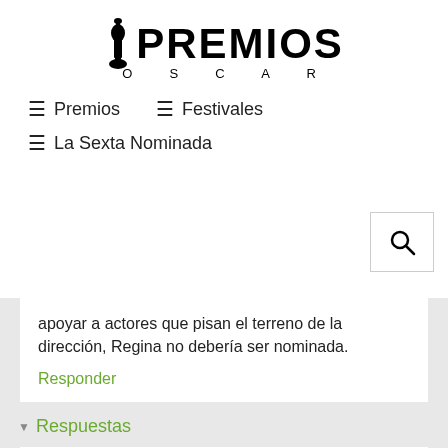[Figure (logo): Premios Oscar logo with Oscar statuette figure and text PREMIOS OSCAR]
≡ Premios   ≡ Festivales
≡ La Sexta Nominada
apoyar a actores que pisan el terreno de la dirección, Regina no debería ser nominada.
Responder
▾ Respuestas
Ryan  16/2/21 17:19
Pero  Y Greta